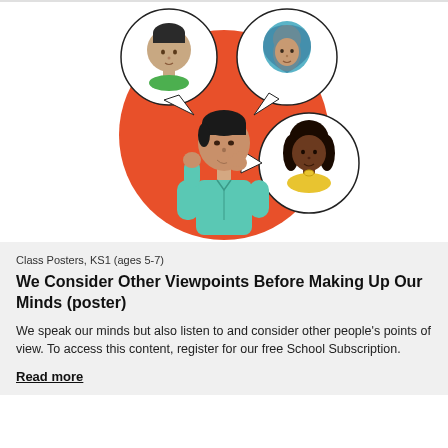[Figure (illustration): An illustration of a person in a teal shirt holding their chin thoughtfully, set against a large orange circle. Two speech bubble-shaped circles show other people: one with a man in a green shirt on the upper left, one with a woman in a hijab on the upper right, and one with a dark-skinned woman in a yellow top on the right.]
Class Posters, KS1 (ages 5-7)
We Consider Other Viewpoints Before Making Up Our Minds (poster)
We speak our minds but also listen to and consider other people's points of view. To access this content, register for our free School Subscription.
Read more